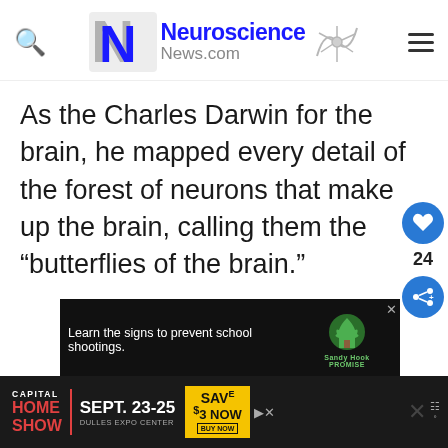[Figure (logo): Neuroscience News.com logo with stylized NN letters and neuron graphic]
As the Charles Darwin for the brain, he mapped every detail of the forest of neurons that make up the brain, calling them the “butterflies of the brain.”
[Figure (screenshot): Sandy Hook Promise advertisement banner: 'Learn the signs to prevent school shootings.']
[Figure (screenshot): Capital Home Show advertisement: SEPT. 23-25, Dulles Expo Center, Save $3 NOW, BUY NOW]